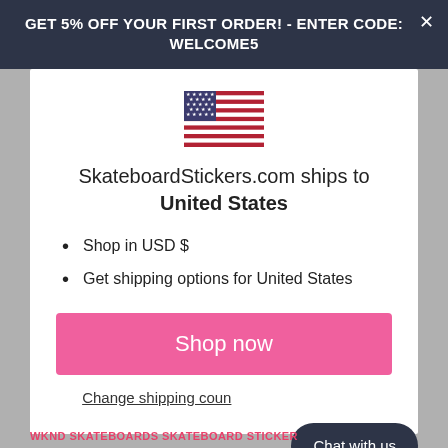GET 5% OFF YOUR FIRST ORDER! - ENTER CODE: WELCOME5
[Figure (illustration): United States flag icon]
SkateboardStickers.com ships to United States
Shop in USD $
Get shipping options for United States
Shop now
Change shipping country
Chat with us
WKND SKATEBOARDS SKATEBOARD STICKER